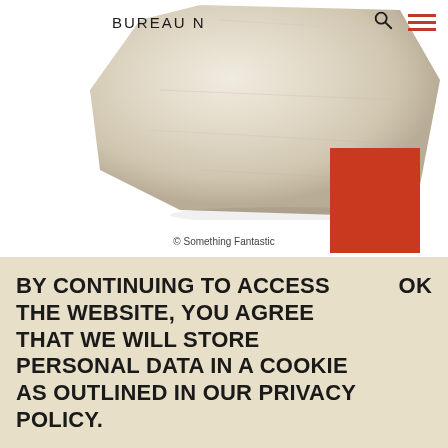BUREAU N
[Figure (photo): A rough white/cream stone or chalk block against a white background, with a red/orange square block partially visible to the lower right of the stone.]
© Something Fantastic
BY CONTINUING TO ACCESS THE WEBSITE, YOU AGREE THAT WE WILL STORE PERSONAL DATA IN A COOKIE AS OUTLINED IN OUR PRIVACY POLICY.
OK